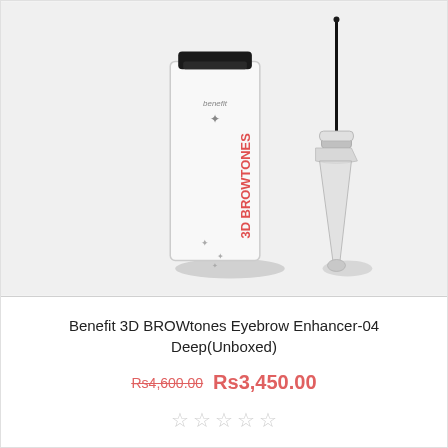[Figure (photo): Benefit 3D BROWtones eyebrow enhancer product photo showing a white tube with red vertical text '3D BROWTONES' and star decorations next to a silver mascara-style wand applicator with a thin brush, both on a light grey background.]
Benefit 3D BROWtones Eyebrow Enhancer-04 Deep(Unboxed)
Rs4,600.00 Rs3,450.00
[Figure (other): Five empty star rating icons in light grey]